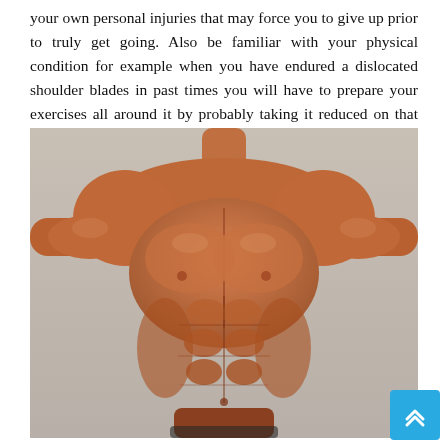your own personal injuries that may force you to give up prior to truly get going. Also be familiar with your physical condition for example when you have endured a dislocated shoulder blades in past times you will have to prepare your exercises all around it by probably taking it reduced on that arm.
[Figure (photo): A muscular male bodybuilder shown from the front, shirtless, with extremely defined muscles including chest, shoulders, arms, and abdominals, set against a light gray background.]